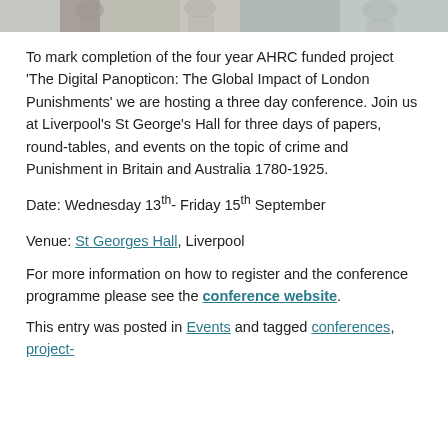[Figure (photo): Partial historic photograph or illustration at top of page, cropped to a strip showing figures]
To mark completion of the four year AHRC funded project 'The Digital Panopticon: The Global Impact of London Punishments' we are hosting a three day conference. Join us at Liverpool's St George's Hall for three days of papers, round-tables, and events on the topic of crime and Punishment in Britain and Australia 1780-1925.
Date: Wednesday 13th- Friday 15th September
Venue: St Georges Hall, Liverpool
For more information on how to register and the conference programme please see the conference website.
This entry was posted in Events and tagged conferences, project-